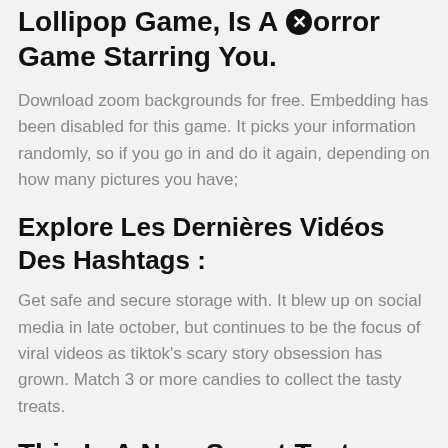Lollipop Game, Is A Horror Game Starring You.
Download zoom backgrounds for free. Embedding has been disabled for this game. It picks your information randomly, so if you go in and do it again, depending on how many pictures you have;
Explore Les Dernières Vidéos Des Hashtags :
Get safe and secure storage with. It blew up on social media in late october, but continues to be the focus of viral videos as tiktok's scary story obsession has grown. Match 3 or more candies to collect the tasty treats.
This Is A New Sweet Taste Match Puzzle Game Created By Bitmango.